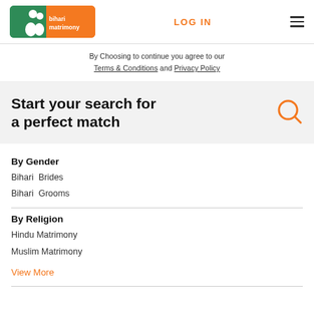[Figure (logo): Bihari Matrimony logo with green and orange background, couple icon, and text 'bihari matrimony']
LOG IN
≡
By Choosing to continue you agree to our Terms & Conditions and Privacy Policy
Start your search for a perfect match
By Gender
Bihari  Brides
Bihari  Grooms
By Religion
Hindu Matrimony
Muslim Matrimony
View More